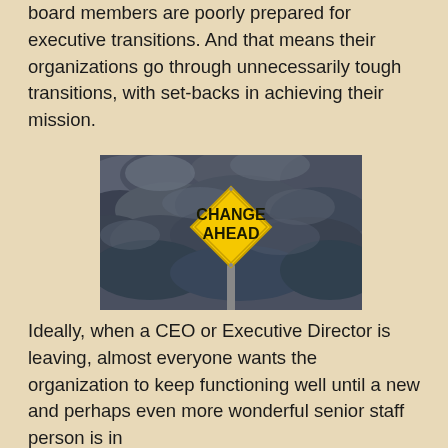board members are poorly prepared for executive transitions. And that means their organizations go through unnecessarily tough transitions, with set-backs in achieving their mission.
[Figure (photo): A yellow diamond-shaped road sign reading 'CHANGE AHEAD' against a dramatic dark cloudy sky.]
Ideally, when a CEO or Executive Director is leaving, almost everyone wants the organization to keep functioning well until a new and perhaps even more wonderful senior staff person is in